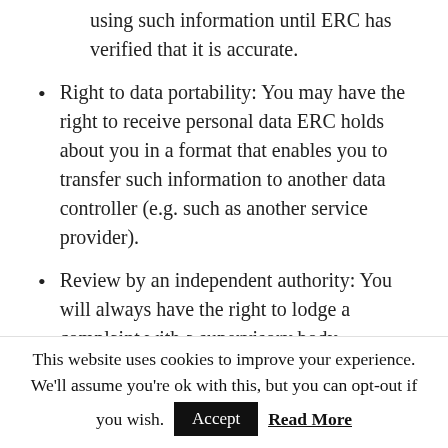using such information until ERC has verified that it is accurate.
Right to data portability: You may have the right to receive personal data ERC holds about you in a format that enables you to transfer such information to another data controller (e.g. such as another service provider).
Review by an independent authority: You will always have the right to lodge a complaint with a supervisory body, including ICO as listed above.
This website uses cookies to improve your experience. We'll assume you're ok with this, but you can opt-out if you wish.  Accept  Read More